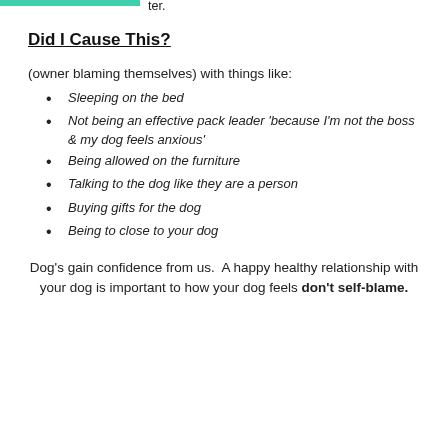ter.
Did I Cause This?
(owner blaming themselves) with things like:
Sleeping on the bed
Not being an effective pack leader 'because I'm not the boss & my dog feels anxious'
Being allowed on the furniture
Talking to the dog like they are a person
Buying gifts for the dog
Being to close to your dog
Dog's gain confidence from us.  A happy healthy relationship with your dog is important to how your dog feels don't self-blame.